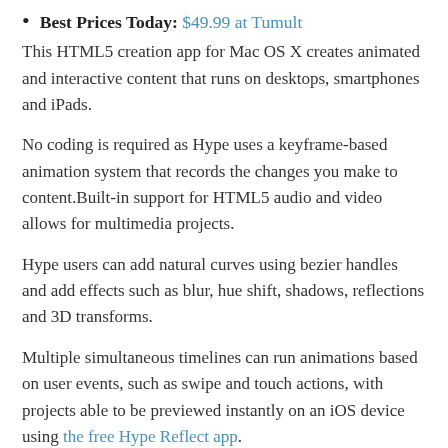Best Prices Today: $49.99 at Tumult
This HTML5 creation app for Mac OS X creates animated and interactive content that runs on desktops, smartphones and iPads.
No coding is required as Hype uses a keyframe-based animation system that records the changes you make to content.Built-in support for HTML5 audio and video allows for multimedia projects.
Hype users can add natural curves using bezier handles and add effects such as blur, hue shift, shadows, reflections and 3D transforms.
Multiple simultaneous timelines can run animations based on user events, such as swipe and touch actions, with projects able to be previewed instantly on an iOS device using the free Hype Reflect app.